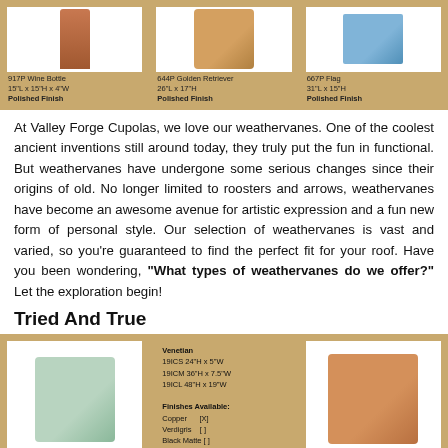[Figure (photo): Three product images at top: 917P Wine Bottle weathervane, 644P Golden Retriever weathervane, 667P Flag weathervane, each on wooden background with captions]
At Valley Forge Cupolas, we love our weathervanes. One of the coolest ancient inventions still around today, they truly put the fun in functional. But weathervanes have undergone some serious changes since their origins of old. No longer limited to roosters and arrows, weathervanes have become an awesome avenue for artistic expression and a fun new form of personal style. Our selection of weathervanes is vast and varied, so you’re guaranteed to find the perfect fit for your roof. Have you been wondering, “What types of weathervanes do we offer?” Let the exploration begin!
Tried And True
[Figure (photo): Three product images at bottom: rooster weathervane in verdigris finish, Venetian spire with finish options listed, copper rooster weathervane]